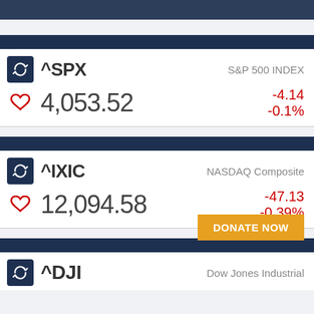^SPX — S&P 500 INDEX — 4,053.52 — -4.14 — -0.1%
^IXIC — NASDAQ Composite — 12,094.58 — -47.13 — -0.39%
DONATE NOW
^DJI — Dow Jones Industrial